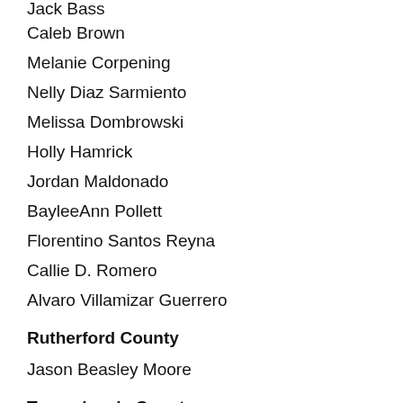Jack Bass
Caleb Brown
Melanie Corpening
Nelly Diaz Sarmiento
Melissa Dombrowski
Holly Hamrick
Jordan Maldonado
BayleeAnn Pollett
Florentino Santos Reyna
Callie D. Romero
Alvaro Villamizar Guerrero
Rutherford County
Jason Beasley Moore
Transylvania County
Cassandra Johnson